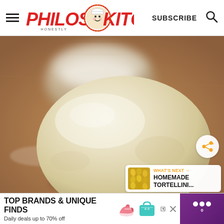Philos Kitchen — SUBSCRIBE
[Figure (photo): Close-up photo of a smooth round ball of bread/pizza dough on a floured wooden surface, with a bowl of flour in the blurred background.]
WHAT'S NEXT → HOMEMADE TORTELLINI...
TOP BRANDS & UNIQUE FINDS
Daily deals up to 70% off